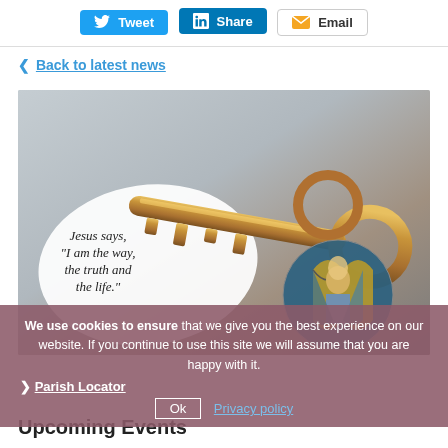[Figure (other): Social share buttons: Tweet (Twitter/blue), Share (LinkedIn/blue), Email (orange icon, white button)]
< Back to latest news
[Figure (photo): Photo of a gold key on a keyring with two keychains: one white oval with text 'Jesus says, "I am the way, the truth and the life."' and one circular stained-glass image of a religious figure]
We use cookies to ensure that we give you the best experience on our website. If you continue to use this site we will assume that you are happy with it.
> Parish Locator
Ok   Privacy policy
Upcoming Events